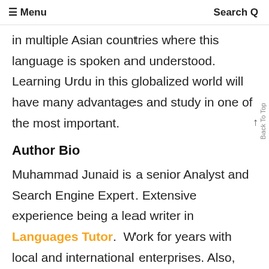≡ Menu    Search Q
in multiple Asian countries where this language is spoken and understood. Learning Urdu in this globalized world will have many advantages and study in one of the most important.
Author Bio
Muhammad Junaid is a senior Analyst and Search Engine Expert. Extensive experience being a lead writer in Languages Tutor.  Work for years with local and international enterprises. Also, represent well-known brands in the UAE.